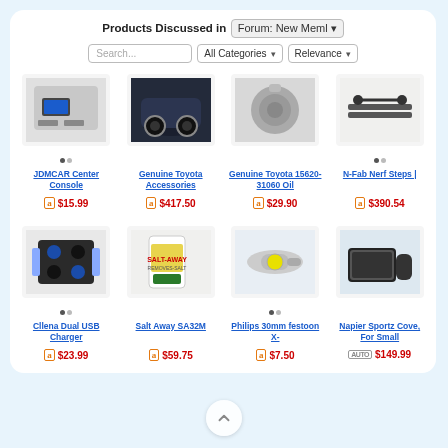Products Discussed in Forum: New Meml
[Figure (screenshot): Product listing grid with search bar, category and relevance dropdowns, and 8 product cards arranged in 2 rows of 4. Products shown: JDMCAR Center Console ($15.99), Genuine Toyota Accessories ($417.50), Genuine Toyota 15620-31060 Oil ($29.90), N-Fab Nerf Steps ($390.54), Cllena Dual USB Charger ($23.99), Salt Away SA32M ($59.75), Philips 30mm festoon X- ($7.50), Napier Sportz Cove For Small ($149.99)]